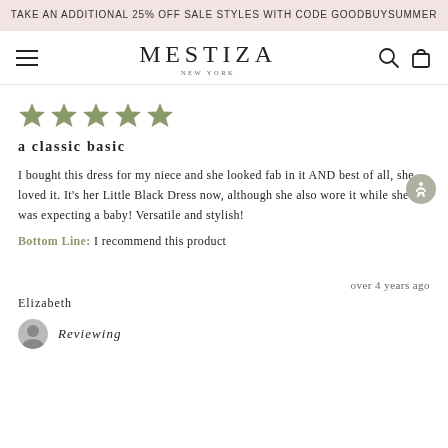TAKE AN ADDITIONAL 25% OFF SALE STYLES WITH CODE GOODBUYSUMMER
[Figure (logo): Mestiza New York logo with hamburger menu and search/cart icons]
[Figure (other): Five gold/olive colored stars representing 5-star rating]
a classic basic
I bought this dress for my niece and she looked fab in it AND best of all, she loved it. It's her Little Black Dress now, although she also wore it while she was expecting a baby! Versatile and stylish!
Bottom Line: I recommend this product
over 4 years ago
Elizabeth
Reviewing